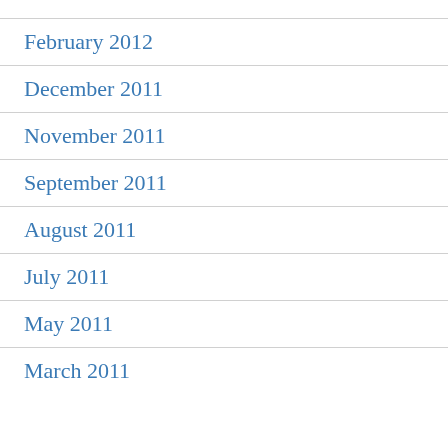February 2012
December 2011
November 2011
September 2011
August 2011
July 2011
May 2011
March 2011